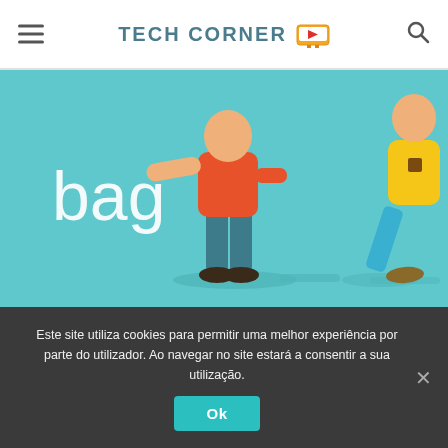TECH CORNER
[Figure (illustration): Cartoon illustration of two people walking on a teal/light blue background with the word 'bag' in white text on the left side.]
Este site utiliza cookies para permitir uma melhor experiência por parte do utilizador. Ao navegar no site estará a consentir a sua utilização.